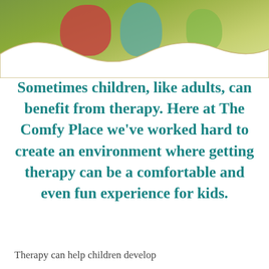[Figure (photo): Photo of children playing outdoors in a field, partially visible behind a wavy white border at the top of the page.]
Sometimes children, like adults, can benefit from therapy. Here at The Comfy Place we've worked hard to create an environment where getting therapy can be a comfortable and even fun experience for kids.
Therapy can help children develop